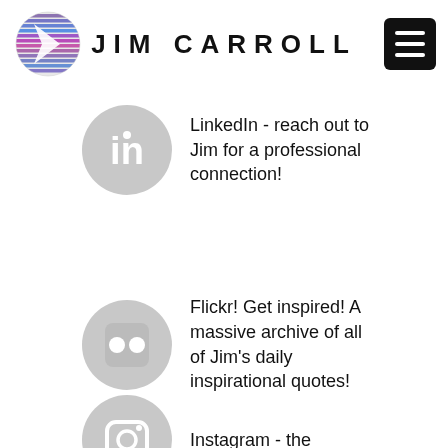[Figure (logo): Jim Carroll logo with purple/blue globe-like icon and site name 'JIM CARROLL' in bold spaced letters, with hamburger menu button]
LinkedIn - reach out to Jim for a professional connection!
Flickr! Get inspired! A massive archive of all of Jim's daily inspirational quotes!
Instagram - the